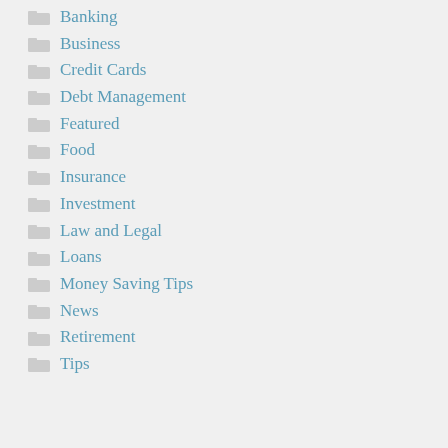Banking
Business
Credit Cards
Debt Management
Featured
Food
Insurance
Investment
Law and Legal
Loans
Money Saving Tips
News
Retirement
Tips